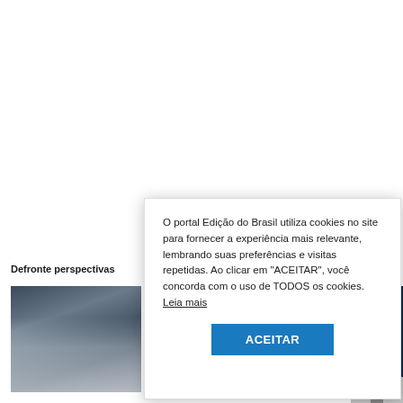Defronte perspectivas
[Figure (photo): Crowd of people in white shirts, appears to be a sports or public event audience, dark blue strip on right edge]
O portal Edição do Brasil utiliza cookies no site para fornecer a experiência mais relevante, lembrando suas preferências e visitas repetidas. Ao clicar em "ACEITAR", você concorda com o uso de TODOS os cookies. Leia mais
ACEITAR